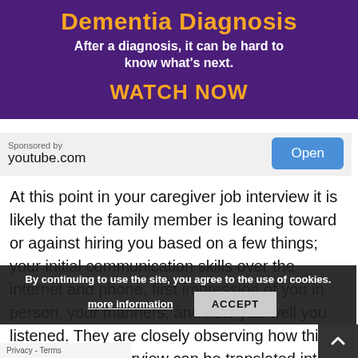[Figure (other): Advertisement banner with purple background. Title in orange: 'Dementia Diagnosis'. Subtitle in white: 'After a diagnosis, it can be hard to know what’s next.' Call to action in orange: 'WATCH NOW'.]
Sponsored by
youtube.com
Open
At this point in your caregiver job interview it is likely that the family member is leaning toward or against hiring you based on a few things; your initial communication skills over the internet and phone, first impression of you in person, your manners, and how you well you listened. They are closely observing how this caregiver job interview can be translated into how you will care for their senior loved one(s).
By continuing to use the site, you agree to the use of cookies.
more information
ACCEPT
Privacy - Terms
the family member feels when they are with you during your caregiver job interview that is most important. You